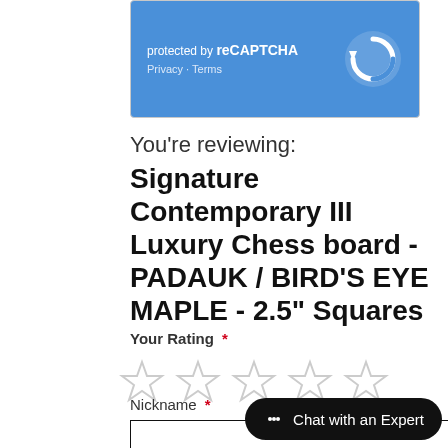[Figure (screenshot): reCAPTCHA protected widget with blue background showing 'protected by reCAPTCHA', Privacy and Terms links, and the reCAPTCHA logo on the right]
You're reviewing:
Signature Contemporary III Luxury Chess board - PADAUK / BIRD'S EYE MAPLE - 2.5" Squares
Your Rating *
[Figure (other): Five empty star rating icons in a row]
Nickname *
[Figure (screenshot): Empty text input field for Nickname]